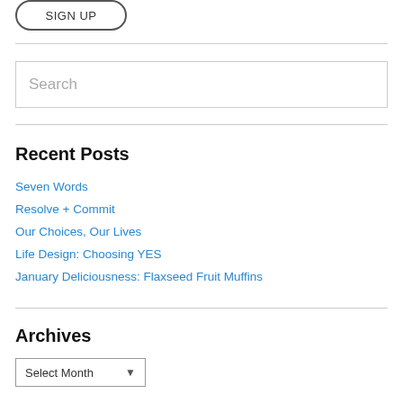[Figure (other): SIGN UP button with rounded border]
Search
Recent Posts
Seven Words
Resolve + Commit
Our Choices, Our Lives
Life Design: Choosing YES
January Deliciousness: Flaxseed Fruit Muffins
Archives
Select Month